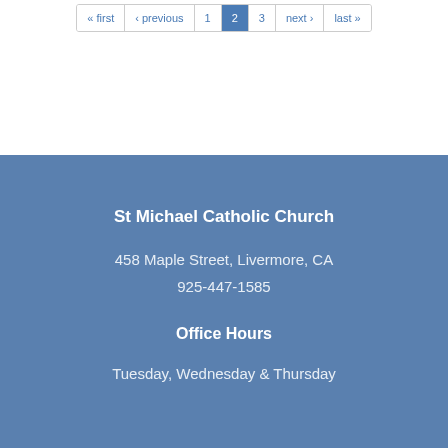« first  ‹ previous  1  2  3  next ›  last »
St Michael Catholic Church
458 Maple Street, Livermore, CA
925-447-1585
Office Hours
Tuesday, Wednesday & Thursday